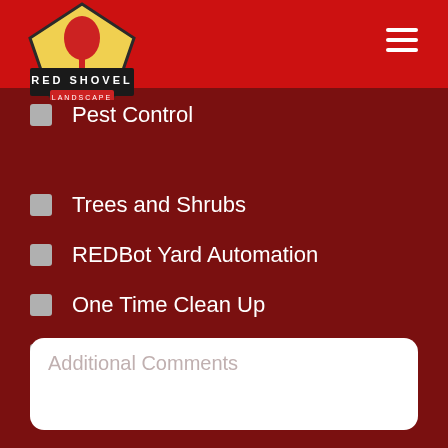[Figure (logo): Red Shovel Landscape logo - pentagon shape with yellow background, red shovel, black banner with RED SHOVEL text, red ribbon with LANDSCAPE text]
[Figure (illustration): Hamburger menu icon - three white horizontal lines on red background]
Pest Control
Trees and Shrubs
REDBot Yard Automation
One Time Clean Up
Christmas Decoration
Additional Comments